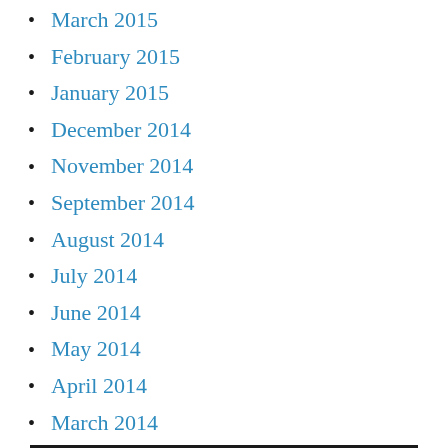March 2015
February 2015
January 2015
December 2014
November 2014
September 2014
August 2014
July 2014
June 2014
May 2014
April 2014
March 2014
February 2014
January 2014